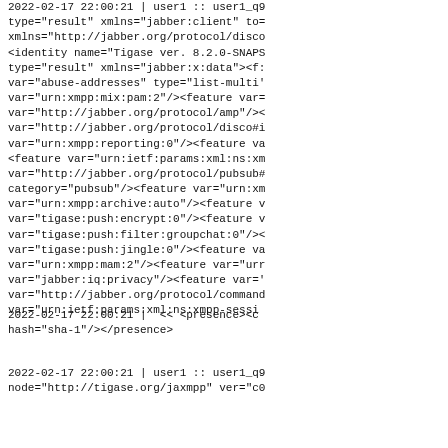2022-02-17 22:00:21 | user1 :: user1_q9
type="result" xmlns="jabber:client" to=
xmlns="http://jabber.org/protocol/disco
<identity name="Tigase ver. 8.2.0-SNAPS
type="result" xmlns="jabber:x:data"><f:
var="abuse-addresses" type="list-multi'
var="urn:xmpp:mix:pam:2"/><feature var=
var="http://jabber.org/protocol/amp"/><<
var="http://jabber.org/protocol/disco#i
var="urn:xmpp:reporting:0"/><feature va
<feature var="urn:ietf:params:xml:ns:xm
var="http://jabber.org/protocol/pubsub#
category="pubsub"/><feature var="urn:xm
var="urn:xmpp:archive:auto"/><feature v
var="tigase:push:encrypt:0"/><feature v
var="tigase:push:filter:groupchat:0"/><<
var="tigase:push:jingle:0"/><feature va
var="urn:xmpp:mam:2"/><feature var="urr
var="jabber:iq:privacy"/><feature var='
var="http://jabber.org/protocol/command
var="urn:ietf:params:xml:ns:xmpp-sessi
2022-02-17 22:00:21 |  << <presence><c
hash="sha-1"/></presence>
2022-02-17 22:00:21 | user1 :: user1_q9
node="http://tigase.org/jaxmpp" ver="c0